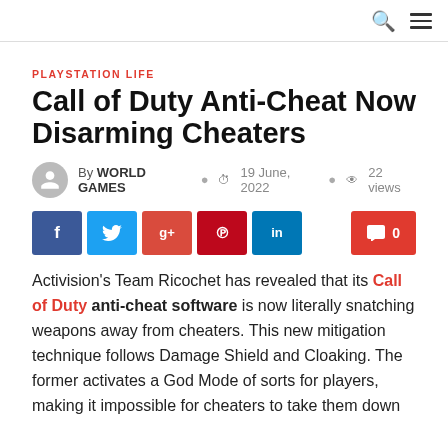PLAYSTATION LIFE
Call of Duty Anti-Cheat Now Disarming Cheaters
By WORLD GAMES  19 June, 2022  22 views
[Figure (infographic): Social share buttons: Facebook, Twitter, Google+, Pinterest, LinkedIn, and a comment button showing 0 comments]
Activision's Team Ricochet has revealed that its Call of Duty anti-cheat software is now literally snatching weapons away from cheaters. This new mitigation technique follows Damage Shield and Cloaking. The former activates a God Mode of sorts for players, making it impossible for cheaters to take them down